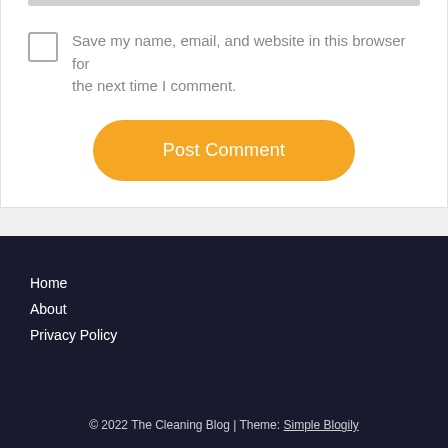Save my name, email, and website in this browser for the next time I comment.
Post Comment
Home
About
Privacy Policy
© 2022 The Cleaning Blog | Theme: Simple Blogily